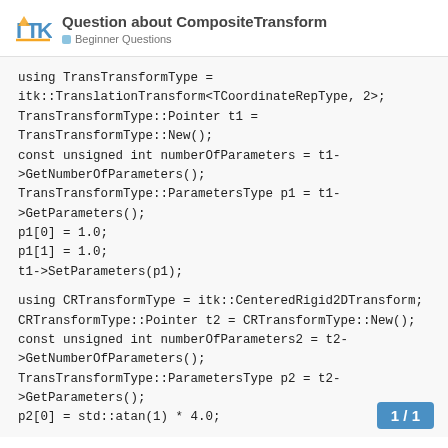Question about CompositeTransform
Beginner Questions
using TransTransformType = itk::TranslationTransform<TCoordinateRepType, 2>;
TransTransformType::Pointer t1 = TransTransformType::New();
const unsigned int numberOfParameters = t1->GetNumberOfParameters();
TransTransformType::ParametersType p1 = t1->GetParameters();
p1[0] = 1.0;
p1[1] = 1.0;
t1->SetParameters(p1);

using CRTransformType = itk::CenteredRigid2DTransform;
CRTransformType::Pointer t2 = CRTransformType::New();
const unsigned int numberOfParameters2 = t2->GetNumberOfParameters();
TransTransformType::ParametersType p2 = t2->GetParameters();
p2[0] = std::atan(1) * 4.0;
1 / 1